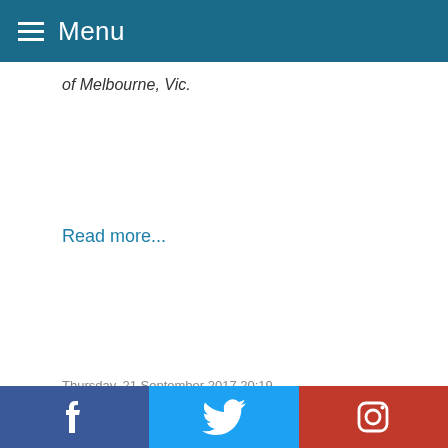Menu
of Melbourne, Vic.
Read more...
Thursday, 21 September 2017 20:19
An Open Letter to the Gay Community
Written by Anonymous
[Figure (photo): Close-up photo of a hand with a finger extended, warm golden-beige background]
This letter was sent to me by a
Facebook Twitter Instagram social sharing bar